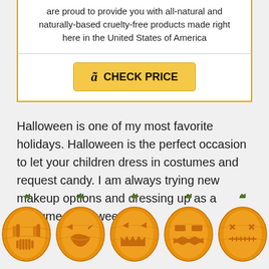are proud to provide you with all-natural and naturally-based cruelty-free products made right here in the United States of America
[Figure (screenshot): Amazon CHECK PRICE button with orange/gold background]
Halloween is one of my most favorite holidays. Halloween is the perfect occasion to let your children dress in costumes and request candy. I am always trying new makeup options and dressing up as a costume. Halloween
[Figure (illustration): Row of five carved jack-o-lantern pumpkins with different face designs across the bottom of the page]